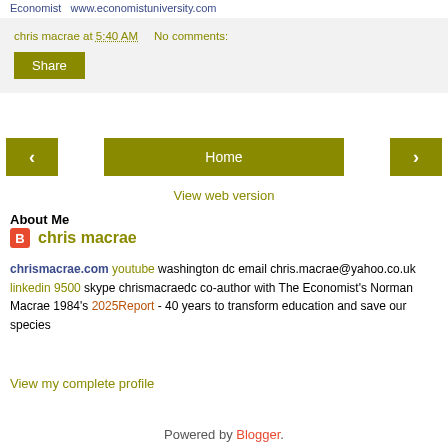Economist  www.economistuniversity.com
chris macrae at 5:40 AM   No comments:
Share
< Home >
View web version
About Me
chris macrae
chrismacrae.com youtube washington dc email chris.macrae@yahoo.co.uk linkedin 9500 skype chrismacraedc co-author with The Economist's Norman Macrae 1984's 2025Report - 40 years to transform education and save our species
View my complete profile
Powered by Blogger.